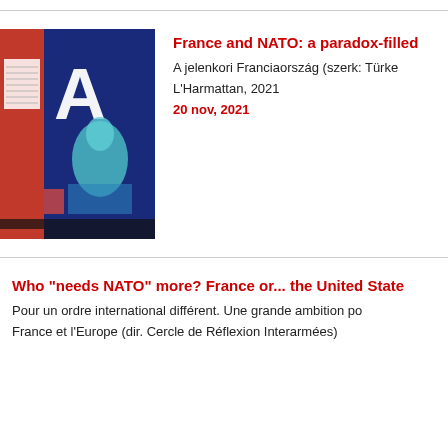[Figure (photo): Book cover showing red and blue colors with the letter A visible and artistic imagery]
France and NATO: a paradox-filled
A jelenkori Franciaország (szerk: Türke
L'Harmattan, 2021
20 nov, 2021
Who "needs NATO" more? France or... the United State
Pour un ordre international différent. Une grande ambition po
France et l'Europe (dir. Cercle de Réflexion Interarmées)